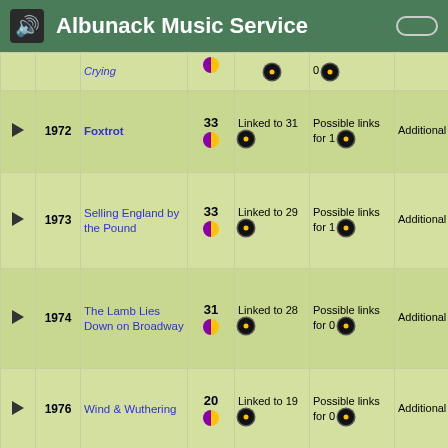Albunack Music Service
|  | Year | Title | # | Linked | Possible links | Additional |
| --- | --- | --- | --- | --- | --- | --- |
| ► | 1972 | Foxtrot | 33 | Linked to 31 ● | Possible links for 1 ● | Additional 237 ● |
| ► | 1973 | Selling England by the Pound | 33 | Linked to 29 ● | Possible links for 1 ● | Additional 270 ● |
| ► | 1974 | The Lamb Lies Down on Broadway | 31 | Linked to 28 ● | Possible links for 0 ● | Additional 204 ● |
| ► | 1976 | Wind & Wuthering | 20 | Linked to 19 ● | Possible links for 0 ● | Additional 195 ● |